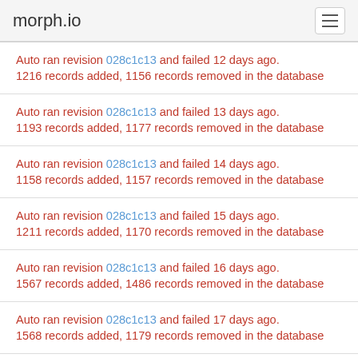morph.io
Auto ran revision 028c1c13 and failed 12 days ago.
1216 records added, 1156 records removed in the database
Auto ran revision 028c1c13 and failed 13 days ago.
1193 records added, 1177 records removed in the database
Auto ran revision 028c1c13 and failed 14 days ago.
1158 records added, 1157 records removed in the database
Auto ran revision 028c1c13 and failed 15 days ago.
1211 records added, 1170 records removed in the database
Auto ran revision 028c1c13 and failed 16 days ago.
1567 records added, 1486 records removed in the database
Auto ran revision 028c1c13 and failed 17 days ago.
1568 records added, 1179 records removed in the database
Auto ran revision 028c1c13 and failed 18 days ago.